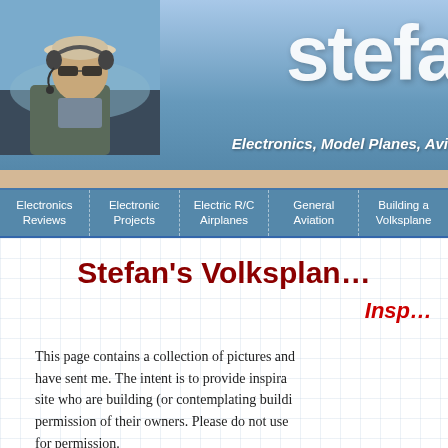[Figure (photo): Website header banner showing a pilot wearing headset and sunglasses on left, with large white 'stefa' logo text and tagline 'Electronics, Model Planes, Avi...' on blue gradient background]
Electronics Reviews | Electronic Projects | Electric R/C Airplanes | General Aviation | Building a Volksplane
Stefan's Volksplan…
Insp…
This page contains a collection of pictures and... have sent me. The intent is to provide inspira... site who are building (or contemplating buildi... permission of their owners. Please do not use... for permission.